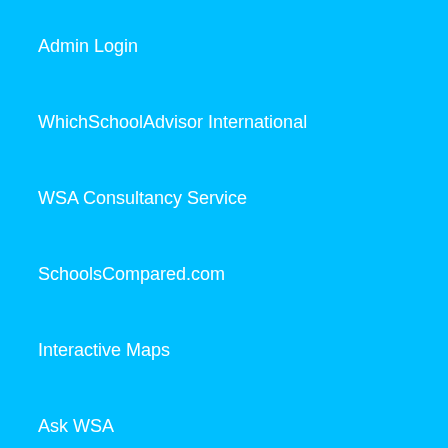Admin Login
WhichSchoolAdvisor International
WSA Consultancy Service
SchoolsCompared.com
Interactive Maps
Ask WSA
Take the Survey
EdStatica
Parents United
Contact Us
Join our mailing list